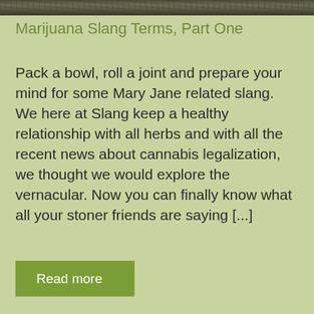[Figure (photo): Dark textured nature/foliage photo strip at top of page]
Marijuana Slang Terms, Part One
Pack a bowl, roll a joint and prepare your mind for some Mary Jane related slang. We here at Slang keep a healthy relationship with all herbs and with all the recent news about cannabis legalization, we thought we would explore the vernacular. Now you can finally know what all your stoner friends are saying [...]
Read more